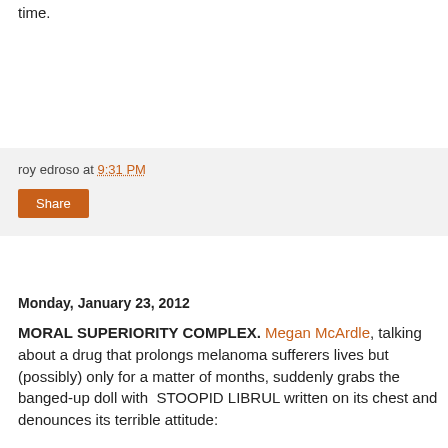time.
roy edroso at 9:31 PM
Share
Monday, January 23, 2012
MORAL SUPERIORITY COMPLEX. Megan McArdle, talking about a drug that prolongs melanoma sufferers lives but (possibly) only for a matter of months, suddenly grabs the banged-up doll with  STOOPID LIBRUL written on its chest and denounces its terrible attitude:
I think the central difference between me, and the people who think that IPAB's reimbursement-rate powers will be a big help in controlling health care costs, is that the latter group tends to think that a lot of expensive health care problems are like back surgery, something that doesn't do any